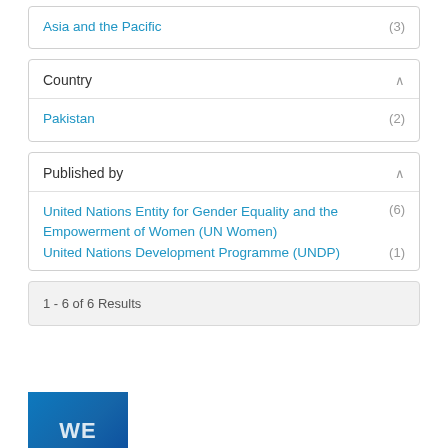Asia and the Pacific (3)
Country
Pakistan (2)
Published by
United Nations Entity for Gender Equality and the Empowerment of Women (UN Women) (6)
United Nations Development Programme (UNDP) (1)
1 - 6 of 6 Results
[Figure (photo): Thumbnail image showing partial text 'WE' on a blue background]